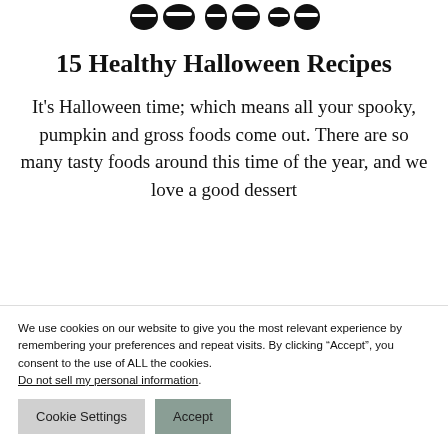[Figure (logo): Decorative logo with stylized icon shapes at top of page]
15 Healthy Halloween Recipes
It's Halloween time; which means all your spooky, pumpkin and gross foods come out. There are so many tasty foods around this time of the year, and we love a good dessert
We use cookies on our website to give you the most relevant experience by remembering your preferences and repeat visits. By clicking “Accept”, you consent to the use of ALL the cookies. Do not sell my personal information.